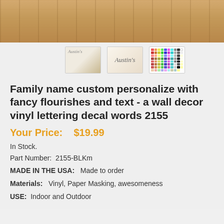[Figure (photo): Main product photo showing a wooden bunk bed or shelf with natural wood slats and white chair/furniture pieces visible]
[Figure (photo): Three product thumbnail images: 1) wall decal applied in room setting, 2) cursive 'Austin's' script logo on beige background, 3) color swatch chart]
Family name custom personalize with fancy flourishes and text - a wall decor vinyl lettering decal words 2155
Your Price:   $19.99
In Stock.
Part Number:  2155-BLKm
MADE IN THE USA:   Made to order
Materials:   Vinyl, Paper Masking, awesomeness
USE:   Indoor and Outdoor